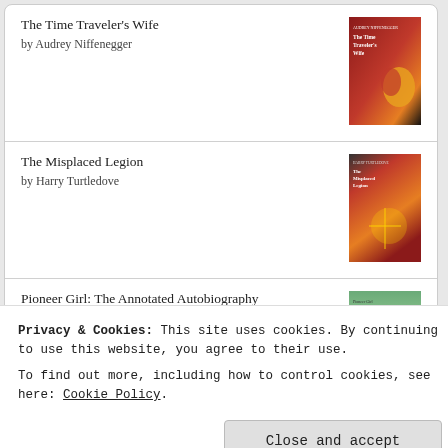The Time Traveler's Wife
by Audrey Niffenegger
[Figure (illustration): Book cover of The Time Traveler's Wife]
The Misplaced Legion
by Harry Turtledove
[Figure (illustration): Book cover of The Misplaced Legion]
Pioneer Girl: The Annotated Autobiography
by Laura Ingalls Wilder
[Figure (illustration): Book cover of Pioneer Girl: The Annotated Autobiography]
[Figure (logo): Goodreads logo button]
Privacy & Cookies: This site uses cookies. By continuing to use this website, you agree to their use.
To find out more, including how to control cookies, see here: Cookie Policy
Close and accept